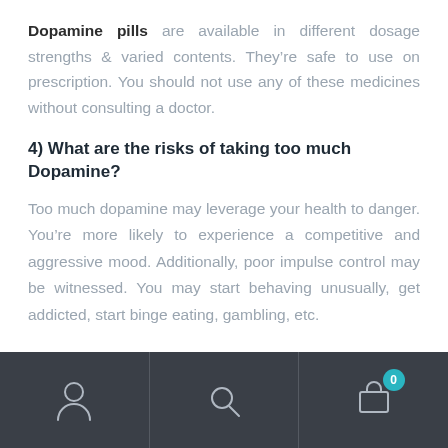Dopamine pills are available in different dosage strengths & varied contents. They're safe to use on prescription. You should not use any of these medicines without consulting a doctor.
4) What are the risks of taking too much Dopamine?
Too much dopamine may leverage your health to danger. You're more likely to experience a competitive and aggressive mood. Additionally, poor impulse control may be witnessed. You may start behaving unusually, get addicted, start binge eating, gambling, etc.
Navigation bar with user, search, and cart icons